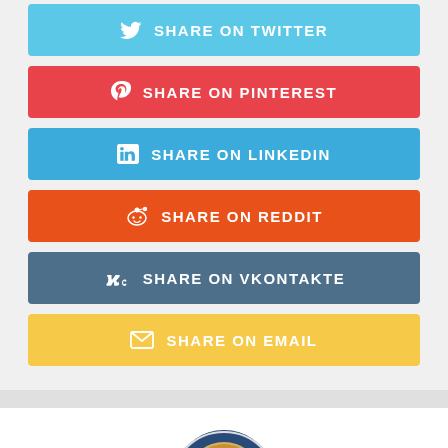SHARE ON TWITTER
SHARE ON PINTEREST
SHARE ON LINKEDIN
SHARE ON REDDIT
SHARE ON VKONTAKTE
SHARE ON EMAIL
[Figure (photo): Circular profile photo of Maria Gourtsilidou, a blonde woman smiling]
Maria Gourtsilidou
[Figure (illustration): Blue circular verified checkmark badge]